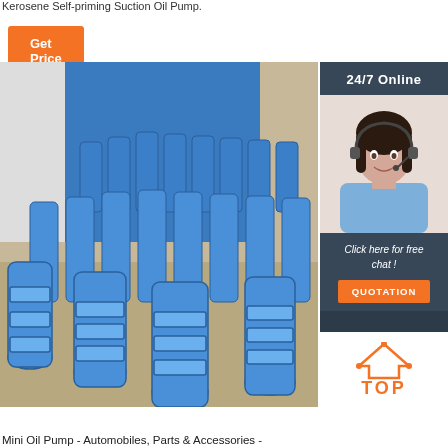Kerosene Self-priming Suction Oil Pump.
Get Price
[Figure (photo): Warehouse floor with many blue submersible oil pumps lined up in rows against a blue wall background.]
24/7 Online
[Figure (photo): Female customer service agent wearing headset, smiling, in blue shirt.]
Click here for free chat !
QUOTATION
[Figure (other): TOP logo with orange triangle/arrow icon above the word TOP in orange bold text.]
Mini Oil Pump - Automobiles, Parts & Accessories -